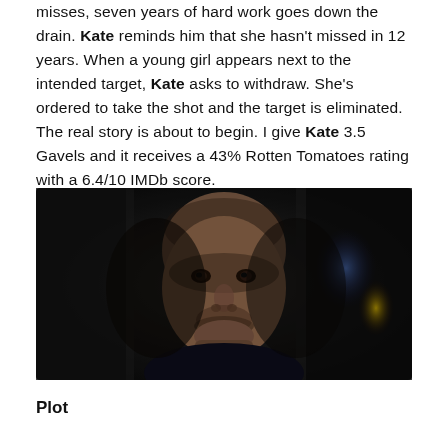misses, seven years of hard work goes down the drain. Kate reminds him that she hasn't missed in 12 years. When a young girl appears next to the intended target, Kate asks to withdraw. She's ordered to take the shot and the target is eliminated. The real story is about to begin. I give Kate 3.5 Gavels and it receives a 43% Rotten Tomatoes rating with a 6.4/10 IMDb score.
[Figure (photo): A bald middle-aged man with a beard in a dark, moody cinematic scene. He is wearing dark clothing and the background is dark with some blurred blue and yellow light elements.]
Plot